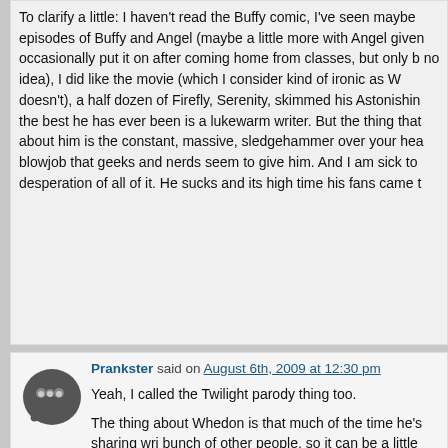To clarify a little: I haven't read the Buffy comic, I've seen maybe episodes of Buffy and Angel (maybe a little more with Angel given occasionally put it on after coming home from classes, but only b no idea), I did like the movie (which I consider kind of ironic as W doesn't), a half dozen of Firefly, Serenity, skimmed his Astonishin the best he has ever been is a lukewarm writer. But the thing that about him is the constant, massive, sledgehammer over your hea blowjob that geeks and nerds seem to give him. And I am sick to desperation of all of it. He sucks and its high time his fans came t
Prankster said on August 6th, 2009 at 12:30 pm
Yeah, I called the Twilight parody thing too.
The thing about Whedon is that much of the time he's sharing wri bunch of other people, so it can be a little hard to tell what's his fa other people's. The Buffy comic is the same way, since it's writtern people, some of them hackier than others (*cough*JephLoeb*cou think Whedon remains a decent writer (though he has declined a heyday) but his big problem is that he's spreading himself too thir writing comics, working on Dollhouse, AND preparing this "Cabin movie all at once. I'm especially interested in that last one, just to directed feature film with an original premise.
Andrew said on August 6th, 2009 at 12:32 pm
No comment on how the latest plot point in the ongoing female en